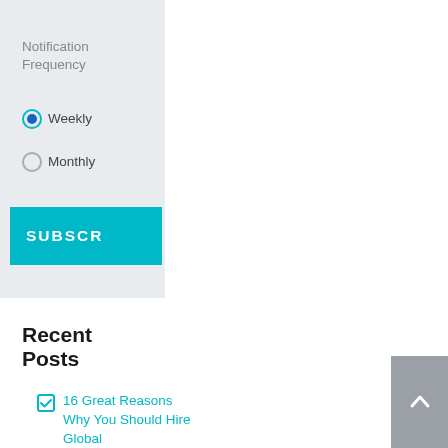[Figure (screenshot): UI widget showing a notification frequency subscription form with radio buttons for Weekly (selected) and Monthly, a SUBSCR[IBE] button, and a Recent Posts section with a checkbox list item linking to '16 Great Reasons Why You Should Hire Global']
Notification Frequency
Weekly (radio button, selected)
Monthly (radio button)
SUBSCR[IBE]
Recent Posts
16 Great Reasons Why You Should Hire Global